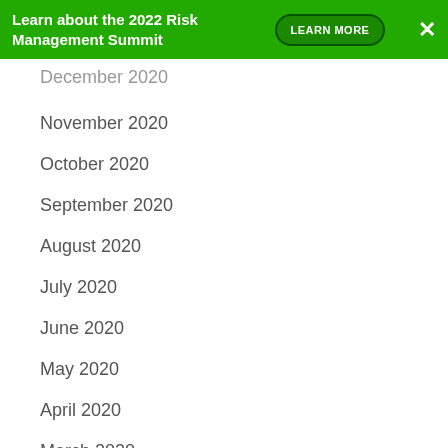Learn about the 2022 Risk Management Summit LEARN MORE ×
December 2020
November 2020
October 2020
September 2020
August 2020
July 2020
June 2020
May 2020
April 2020
March 2020
February 2020
January 2020